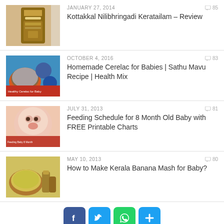[Figure (photo): Thumbnail of Kottakkal Nilibhringadi Keratailam bottle]
JANUARY 27, 2014
85 comments
Kottakkal Nilibhringadi Keratailam – Review
[Figure (photo): Thumbnail of Homemade Cerelac bowl with ingredients]
OCTOBER 4, 2016
83 comments
Homemade Cerelac for Babies | Sathu Mavu Recipe | Health Mix
[Figure (photo): Thumbnail of a baby's face]
JULY 31, 2013
81 comments
Feeding Schedule for 8 Month Old Baby with FREE Printable Charts
[Figure (photo): Thumbnail of Kerala banana mash in bowl]
MAY 10, 2013
80 comments
How to Make Kerala Banana Mash for Baby?
[Figure (infographic): Social share buttons: Facebook, Twitter, WhatsApp, More]